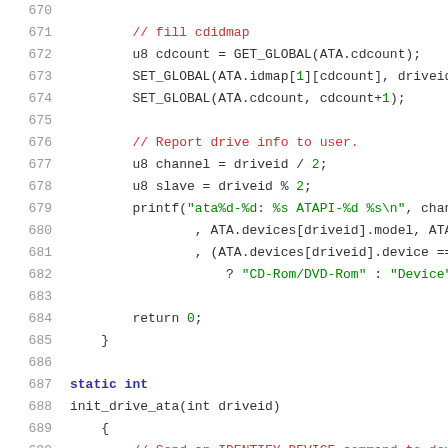Source code listing lines 670-690, C code for ATA drive initialization
[Figure (screenshot): C source code snippet showing lines 670-690 with syntax highlighting. Lines include fill cdidmap comment, GET_GLOBAL and SET_GLOBAL calls, report drive info comment, printf statement, return 0, closing brace, static int and init_drive_ata function definition.]